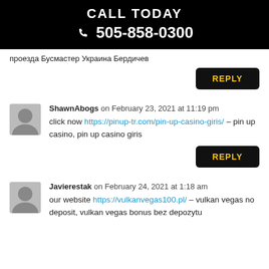CALL TODAY
📞 505-858-0300
проезда Бусмастер Украина Бердичев
REPLY
ShawnAbogs on February 23, 2021 at 11:19 pm
click now https://pinup-tr.com/pin-up-casino-giris/ – pin up casino, pin up casino giris
REPLY
Javierestak on February 24, 2021 at 1:18 am
our website https://vulkanvegas100.pl/ – vulkan vegas no deposit, vulkan vegas bonus bez depozytu